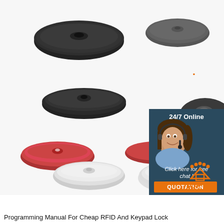[Figure (photo): Product photo showing multiple RFID disc/coin tags in various sizes and colors: black flat discs (top), dark dome-shaped disc, two red circular discs with center holes, two small red coin discs, one white disc with center hole, and one white disc with 3M double-sided tape backing. Also includes a 24/7 Online chat widget with a customer service representative photo and QUOTATION button, plus a TOP logo in bottom-right corner.]
Programming Manual For Cheap RFID And Keypad Lock